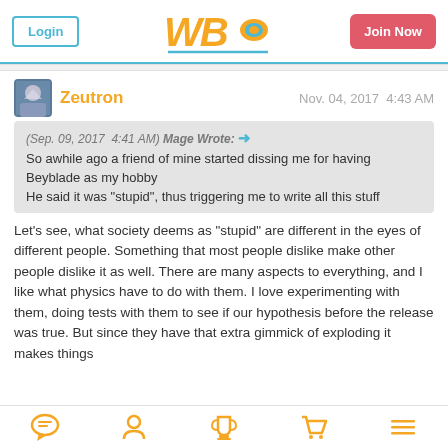Login | WBO | Join Now
Zeutron   Nov. 04, 2017  4:43 AM
(Sep. 09, 2017  4:41 AM) Mage Wrote: → So awhile ago a friend of mine started dissing me for having Beyblade as my hobby
He said it was "stupid", thus triggering me to write all this stuff
Let's see, what society deems as "stupid" are different in the eyes of different people. Something that most people dislike make other people dislike it as well. There are many aspects to everything, and I like what physics have to do with them. I love experimenting with them, doing tests with them to see if our hypothesis before the release was true. But since they have that extra gimmick of exploding it makes things
[navigation icons: chat, profile, trophy, cart, menu]